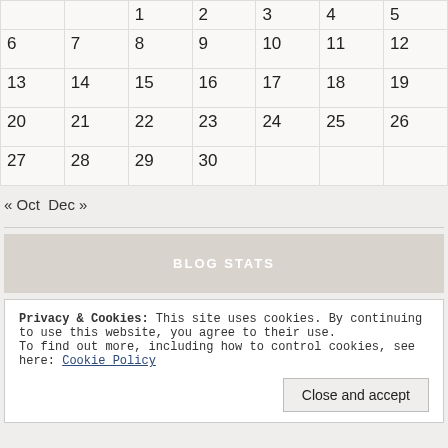|  |  | 1 | 2 | 3 | 4 | 5 |
| 6 | 7 | 8 | 9 | 10 | 11 | 12 |
| 13 | 14 | 15 | 16 | 17 | 18 | 19 |
| 20 | 21 | 22 | 23 | 24 | 25 | 26 |
| 27 | 28 | 29 | 30 |  |  |  |
« Oct  Dec »
BLOG STATS
Privacy & Cookies: This site uses cookies. By continuing to use this website, you agree to their use.
To find out more, including how to control cookies, see here: Cookie Policy
Close and accept